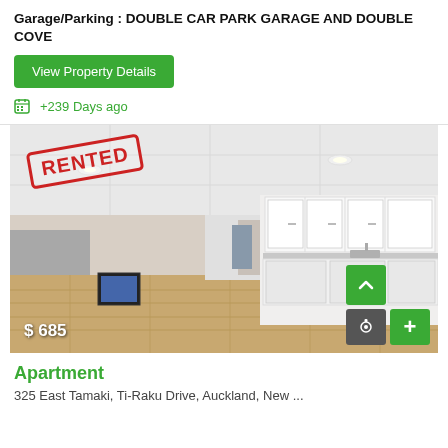Garage/Parking : DOUBLE CAR PARK GARAGE AND DOUBLE COVE
View Property Details
+239 Days ago
[Figure (photo): Interior photo of a modern apartment with open-plan kitchen and living area with wooden floors, white walls, and white cabinetry. A red 'RENTED' stamp overlays the top-left corner. Price overlay '$685' shown at bottom-left. Navigation controls at bottom-right.]
Apartment
325 East Tamaki, Ti-Raku Drive, Auckland, New ...